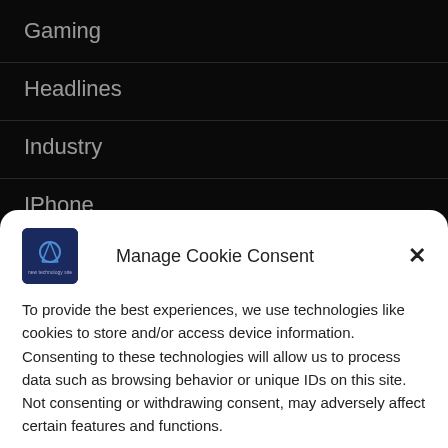Gaming
Headlines
Industry
IPhone
Latest Posts
Manage Cookie Consent
To provide the best experiences, we use technologies like cookies to store and/or access device information. Consenting to these technologies will allow us to process data such as browsing behavior or unique IDs on this site. Not consenting or withdrawing consent, may adversely affect certain features and functions.
Accept